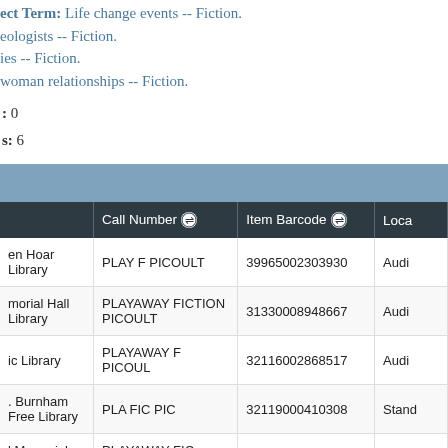Subject Term: Life change events -- Fiction.
eologists -- Fiction.
ies -- Fiction.
woman relationships -- Fiction.
: 0
s: 6
|  | Call Number | Item Barcode | Loca |
| --- | --- | --- | --- |
| en Hoar Library | PLAY F PICOULT | 39965002303930 | Audi |
| morial Hall Library | PLAYAWAY FICTION PICOULT | 31330008948667 | Audi |
| ic Library | PLAYAWAY F PICOUL | 32116002868517 | Audi |
| . Burnham Free Library | PLA FIC PIC | 32119000410308 | Stand |
| l Memorial Library | PLAYAWAY FIC PICOULT | 31481005480632 | Audi |
| Fletcher Library | MWF-PLAY F PICOULT | 31990004918152 | Audi |